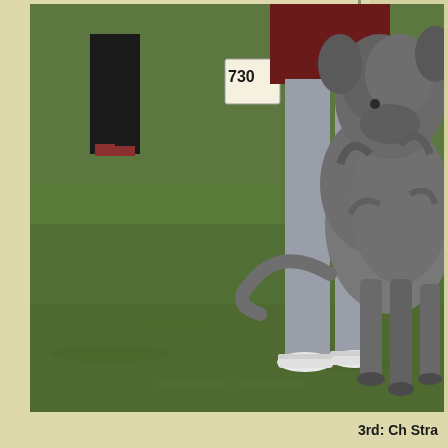[Figure (photo): A large shaggy grey dog (Irish Wolfhound) standing next to a person wearing grey jeans and white sneakers at what appears to be a dog show on a grass field. Another person in dark trousers and red shoes is visible in the background. The dog has a number tag 730 visible.]
3rd: Ch Stra